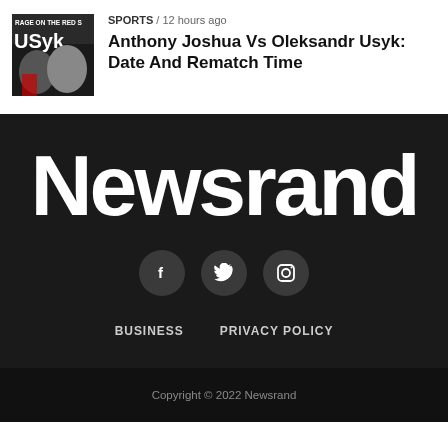[Figure (photo): Article thumbnail image showing boxing fighters with text 'RAGE ON THE RED S' and 'USyk' overlaid]
SPORTS / 12 hours ago
Anthony Joshua Vs Oleksandr Usyk: Date And Rematch Time
[Figure (logo): Newsrand logo in large white bold text on dark background]
[Figure (infographic): Social media icons: Facebook, Twitter, Instagram in dark circular buttons]
BUSINESS    PRIVACY POLICY
Copyright © 2022 Newsrand